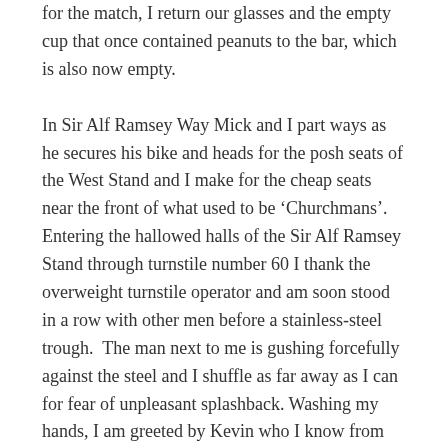for the match, I return our glasses and the empty cup that once contained peanuts to the bar, which is also now empty.
In Sir Alf Ramsey Way Mick and I part ways as he secures his bike and heads for the posh seats of the West Stand and I make for the cheap seats near the front of what used to be 'Churchmans'. Entering the hallowed halls of the Sir Alf Ramsey Stand through turnstile number 60 I thank the overweight turnstile operator and am soon stood in a row with other men before a stainless-steel trough.  The man next to me is gushing forcefully against the steel and I shuffle as far away as I can for fear of unpleasant splashback. Washing my hands, I am greeted by Kevin who I know from our previous mutual involvement with Wivenhoe Town; he tells me how much he enjoys this blog, which is